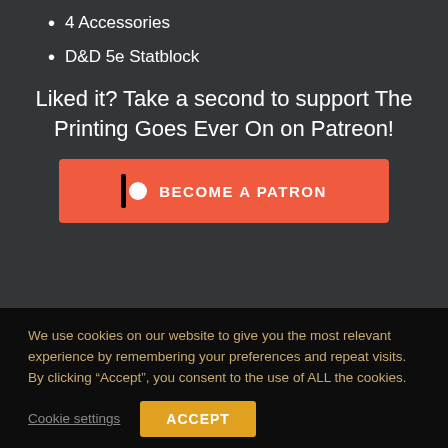4 Accessories
D&D 5e Statblock
Liked it? Take a second to support The Printing Goes Ever On on Patreon!
[Figure (other): Patreon button with icon and text BECOME A PATRON]
We use cookies on our website to give you the most relevant experience by remembering your preferences and repeat visits. By clicking “Accept”, you consent to the use of ALL the cookies.
Cookie settings
ACCEPT